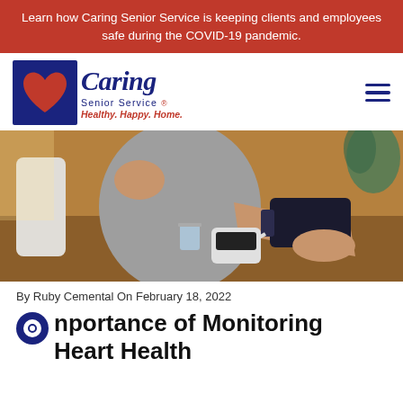Learn how Caring Senior Service is keeping clients and employees safe during the COVID-19 pandemic.
[Figure (logo): Caring Senior Service logo with heart icon, company name in blue italic script, 'Senior Service' text, and tagline 'Healthy. Happy. Home.' in red italic]
[Figure (photo): Person sitting at a wooden table taking their blood pressure with an automatic cuff on their arm, hand resting on a glass of water and blood pressure monitor device, plant visible in background]
By Ruby Cemental On February 18, 2022
Importance of Monitoring Heart Health